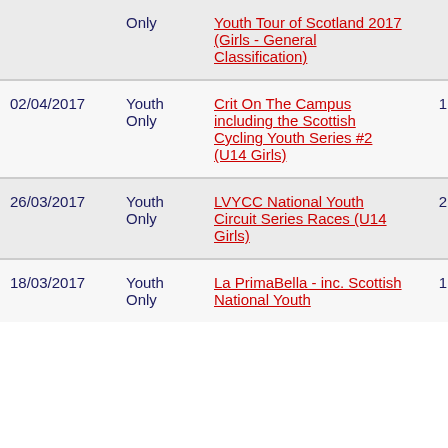| Date | Category | Race | # | Pts |
| --- | --- | --- | --- | --- |
|  | Only | Youth Tour of Scotland 2017 (Girls - General Classification) |  |  |
| 02/04/2017 | Youth Only | Crit On The Campus including the Scottish Cycling Youth Series #2 (U14 Girls) | 1 | 10 |
| 26/03/2017 | Youth Only | LVYCC National Youth Circuit Series Races (U14 Girls) | 2 | 12 |
| 18/03/2017 | Youth Only | La PrimaBella - inc. Scottish National Youth | 1 | 10 |